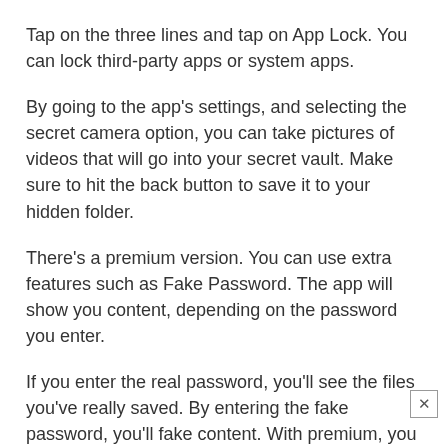Tap on the three lines and tap on App Lock. You can lock third-party apps or system apps.
By going to the app's settings, and selecting the secret camera option, you can take pictures of videos that will go into your secret vault. Make sure to hit the back button to save it to your hidden folder.
There's a premium version. You can use extra features such as Fake Password. The app will show you content, depending on the password you enter.
If you enter the real password, you'll see the files you've really saved. By entering the fake password, you'll fake content. With premium, you can also prevent screenshots, and have the app take an intruder selfies.